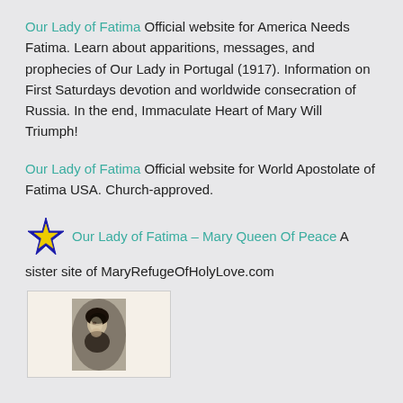Our Lady of Fatima Official website for America Needs Fatima. Learn about apparitions, messages, and prophecies of Our Lady in Portugal (1917). Information on First Saturdays devotion and worldwide consecration of Russia. In the end, Immaculate Heart of Mary Will Triumph!
Our Lady of Fatima Official website for World Apostolate of Fatima USA. Church-approved.
Our Lady of Fatima – Mary Queen Of Peace A sister site of MaryRefugeOfHolyLove.com
[Figure (photo): Small black and white portrait photo of a woman looking upward, displayed in a cream/off-white bordered frame]